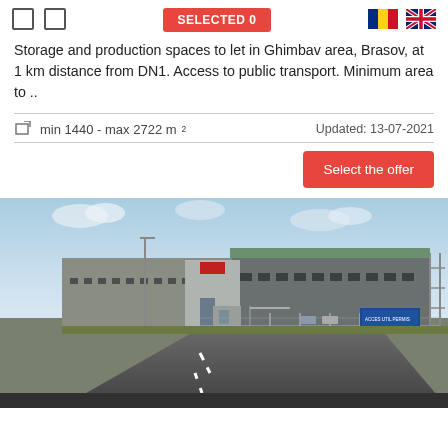SELECTED 0
Storage and production spaces to let in Ghimbav area, Brasov, at 1 km distance from DN1. Access to public transport. Minimum area to ..
min 1440 - max 2722 m²   Updated: 13-07-2021
[Figure (photo): Exterior photo of an industrial warehouse/storage facility in Ghimbav area, Brasov. Shows a large grey modern industrial building with green roof accents, a security gate/booth at entrance, metal fencing, a road in the foreground, and a blue sign on the right side.]